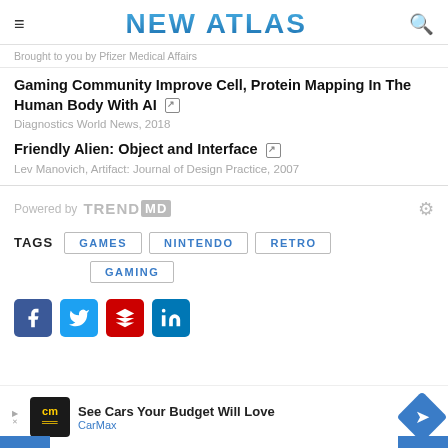NEW ATLAS
Brought to you by Pfizer Medical Affairs
Gaming Community Improve Cell, Protein Mapping In The Human Body With AI
Diagnostics World News, 2018
Friendly Alien: Object and Interface
Lev Manovich, Artifact: Journal of Design Practice, 2007
Powered by TREND MD
TAGS  GAMES  NINTENDO  RETRO  GAMING
[Figure (other): Social share buttons: Facebook, Twitter, Flipboard, LinkedIn]
[Figure (other): Advertisement: See Cars Your Budget Will Love - CarMax]